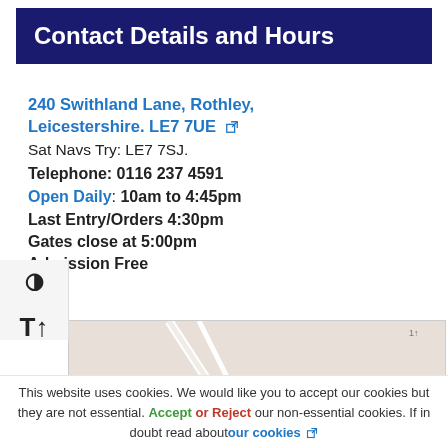Contact Details and Hours
240 Swithland Lane, Rothley, Leicestershire. LE7 7UE [external link]
Sat Navs Try: LE7 7SJ.
Telephone: 0116 237 4591
Open Daily: 10am to 4:45pm
Last Entry/Orders 4:30pm
Gates close at 5:00pm
Admission Free
[Figure (map): Street map showing location near 240 Swithland Lane, Rothley, Leicestershire with a green area (park/garden) visible on the right side of the map.]
This website uses cookies. We would like you to accept our cookies but they are not essential. Accept or Reject our non-essential cookies. If in doubt read about our cookies [external link]